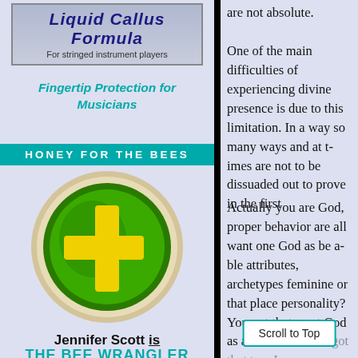[Figure (logo): Liquid Callus Formula advertisement banner - For stringed instrument players]
Fingertip Protection for Musicians
HONEY FOR THE BEES
[Figure (logo): Green circle logo with yellow plus/cross sign on dark green background with beige ring]
Jennifer Scott is
THE BEE WRANGLER
are not absolute.
One of the main difficu... divine presence is due... this limitation. In a wa... so many ways and at ... are not to be dissuade... out to prove in the first
Actually you are God, ... proper behavior are al... want one God as be a... attributes, archetypes ... feminine or that place ... personality? You got t... want God as a consum... You got that too. I...
Scroll to Top